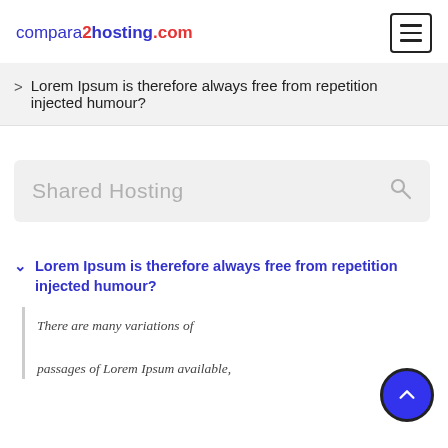compara2hosting.com
> Lorem Ipsum is therefore always free from repetition injected humour?
[Figure (screenshot): Search bar with placeholder text 'Shared Hosting' and a search icon on the right, set against a light grey background rounded rectangle]
v Lorem Ipsum is therefore always free from repetition injected humour?
There are many variations of passages of Lorem Ipsum available,